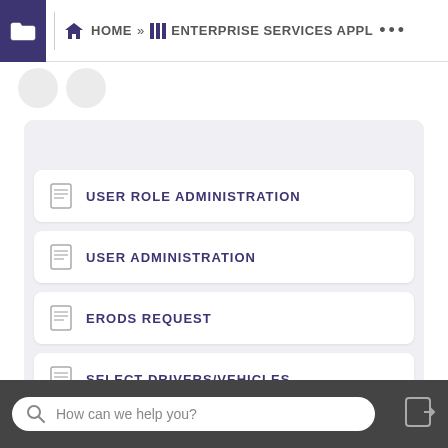HOME » ENTERPRISE SERVICES APPL ...
RECOMMENDED ARTICLES
USER ROLE ADMINISTRATION
USER ADMINISTRATION
ERODS REQUEST
SELECT DRIVERS/VEHICLES
How can we help you?